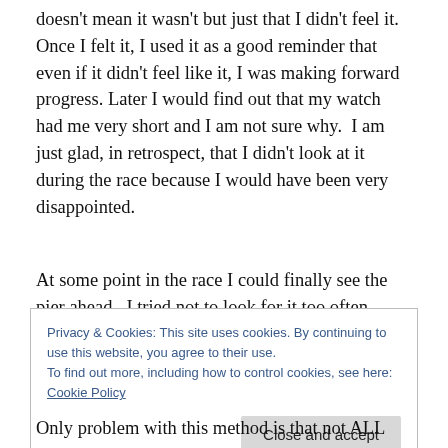doesn't mean it wasn't but just that I didn't feel it. Once I felt it, I used it as a good reminder that even if it didn't feel like it, I was making forward progress. Later I would find out that my watch had me very short and I am not sure why. I am just glad, in retrospect, that I didn't look at it during the race because I would have been very disappointed.
At some point in the race I could finally see the pier ahead. I tried not to look for it too often because it really takes time to make forward progress I the ocean so if you
Privacy & Cookies: This site uses cookies. By continuing to use this website, you agree to their use.
To find out more, including how to control cookies, see here: Cookie Policy
Only problem with this method is that not ALL paddle